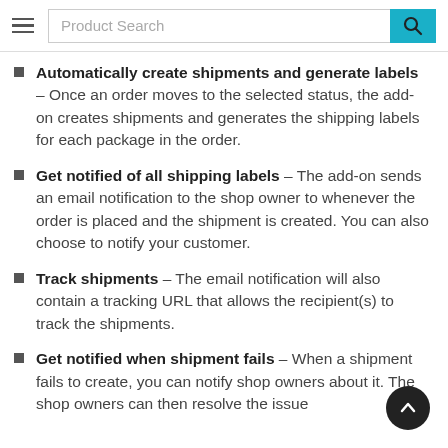Product Search
Automatically create shipments and generate labels – Once an order moves to the selected status, the add-on creates shipments and generates the shipping labels for each package in the order.
Get notified of all shipping labels – The add-on sends an email notification to the shop owner to whenever the order is placed and the shipment is created. You can also choose to notify your customer.
Track shipments – The email notification will also contain a tracking URL that allows the recipient(s) to track the shipments.
Get notified when shipment fails – When a shipment fails to create, you can notify shop owners about it. The shop owners can then resolve the issue